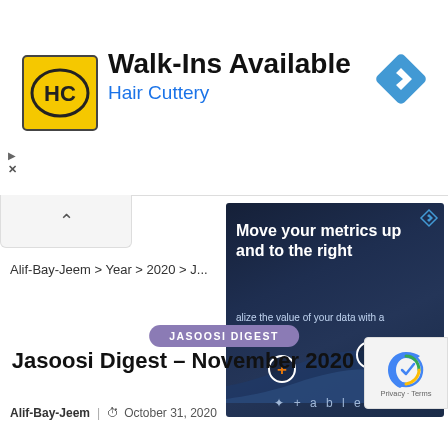[Figure (infographic): Hair Cuttery advertisement banner with yellow HC logo square, bold text 'Walk-Ins Available', subtitle 'Hair Cuttery' in blue, and blue navigation diamond icon on the right]
[Figure (infographic): Tableau advertisement with dark navy background, headline 'Move your metrics up and to the right', subtitle 'alize the value of your data with a ita Culture', area chart with orange plus circle markers, and Tableau logo at bottom]
Alif-Bay-Jeem > Year > 2020 > J...
Jasoosi Digest – November 2020
JASOOSI DIGEST
Alif-Bay-Jeem  ·  October 31, 2020